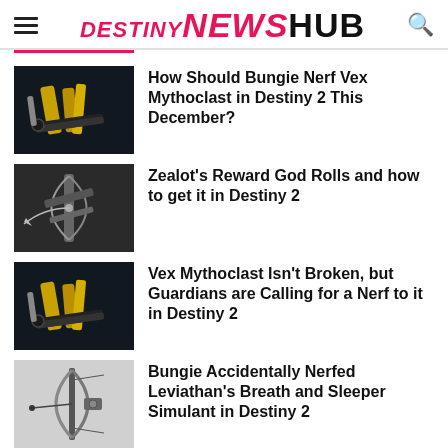DESTINY NEWS HUB
How Should Bungie Nerf Vex Mythoclast in Destiny 2 This December?
Zealot's Reward God Rolls and how to get it in Destiny 2
Vex Mythoclast Isn't Broken, but Guardians are Calling for a Nerf to it in Destiny 2
Bungie Accidentally Nerfed Leviathan's Breath and Sleeper Simulant in Destiny 2